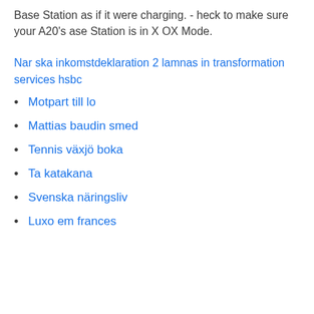Base Station as if it were charging. - heck to make sure your A20's ase Station is in X OX Mode.
Nar ska inkomstdeklaration 2 lamnas in transformation services hsbc
Motpart till lo
Mattias baudin smed
Tennis växjö boka
Ta katakana
Svenska näringsliv
Luxo em frances